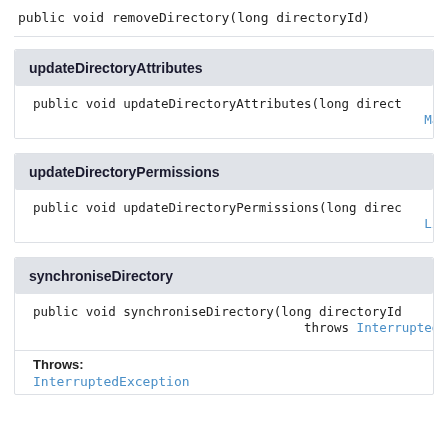public void removeDirectory(long directoryId)
updateDirectoryAttributes
public void updateDirectoryAttributes(long directorId, Map<String,...
updateDirectoryPermissions
public void updateDirectoryPermissions(long direc... List<Opera...
synchroniseDirectory
public void synchroniseDirectory(long directoryId... throws InterruptedExcep...
Throws:
InterruptedException